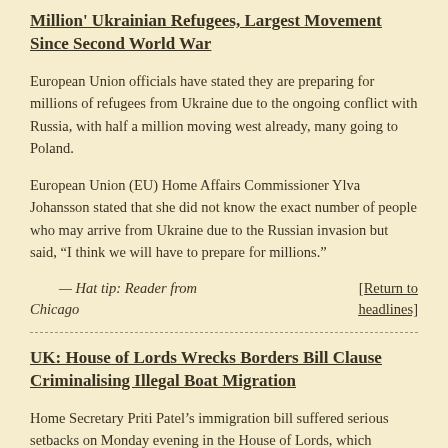Million' Ukrainian Refugees, Largest Movement Since Second World War
European Union officials have stated they are preparing for millions of refugees from Ukraine due to the ongoing conflict with Russia, with half a million moving west already, many going to Poland.
European Union (EU) Home Affairs Commissioner Ylva Johansson stated that she did not know the exact number of people who may arrive from Ukraine due to the Russian invasion but said, “I think we will have to prepare for millions.”
— Hat tip: Reader from Chicago
[Return to headlines]
UK: House of Lords Wrecks Borders Bill Clause Criminalising Illegal Boat Migration
Home Secretary Priti Patel’s immigration bill suffered serious setbacks on Monday evening in the House of Lords, which rejected key elements of the proposed